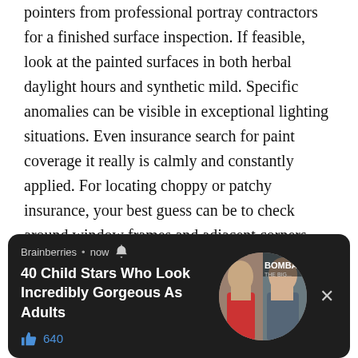pointers from professional portray contractors for a finished surface inspection. If feasible, look at the painted surfaces in both herbal daylight hours and synthetic mild. Specific anomalies can be visible in exceptional lighting situations. Even insurance search for paint coverage it really is calmly and constantly applied. For locating choppy or patchy insurance, your best guess can be to check around window frames and adjacent corners. Make certain that the strains of the paint task are smooth and even and that there are not any gaps in coverage.
[Figure (screenshot): Ad banner from Brainberries showing '40 Child Stars Who Look Incredibly Gorgeous As Adults' with 640 likes, circular image of two women, and an X close button, on a dark background.]